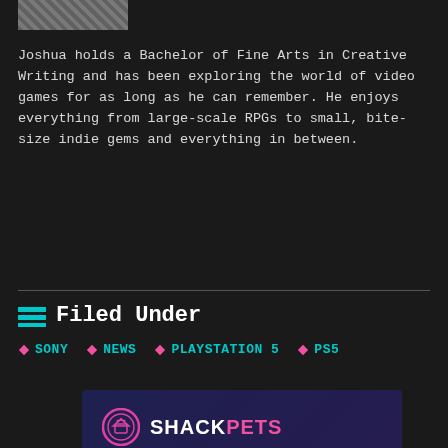[Figure (photo): Author profile image thumbnail, pixelated/blurred]
Joshua holds a Bachelor of Fine Arts in Creative Writing and has been exploring the world of video games for as long as he can remember. He enjoys everything from large-scale RPGs to small, bite-size indie gems and everything in between.
Filed Under
SONY
NEWS
PLAYSTATION 5
PS5
[Figure (infographic): ShackPets advertisement banner with logo, headline 'The Ultimate Battle for Cuteness', 'Swipe your pet to victory!', Download on the App Store button, and a Pomeranian dog photo]